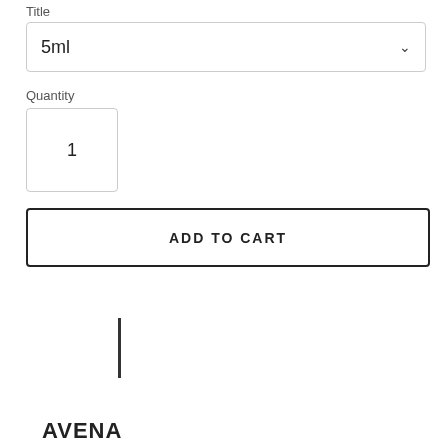Title
5ml
Quantity
1
ADD TO CART
[Figure (other): Vertical bar / divider line]
AVENA